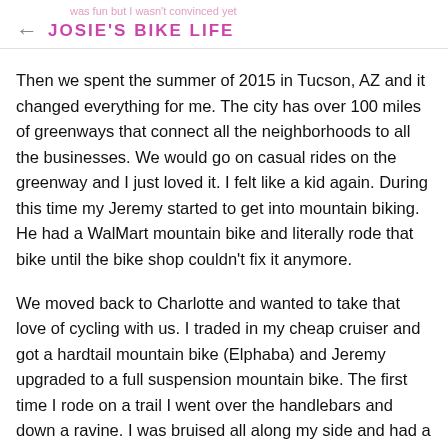was fun but I wasn't convinced yet
← JOSIE'S BIKE LIFE
Then we spent the summer of 2015 in Tucson, AZ and it changed everything for me. The city has over 100 miles of greenways that connect all the neighborhoods to all the businesses. We would go on casual rides on the greenway and I just loved it. I felt like a kid again. During this time my Jeremy started to get into mountain biking. He had a WalMart mountain bike and literally rode that bike until the bike shop couldn't fix it anymore.
We moved back to Charlotte and wanted to take that love of cycling with us. I traded in my cheap cruiser and got a hardtail mountain bike (Elphaba) and Jeremy upgraded to a full suspension mountain bike. The first time I rode on a trail I went over the handlebars and down a ravine. I was bruised all along my side and had a black eye. I started to wonder if I bit off more then I could chew trying to ride trails.